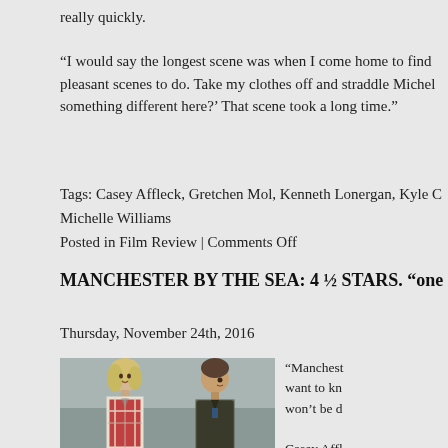really quickly.
“I would say the longest scene was when I come home to find pleasant scenes to do. Take my clothes off and straddle Michell something different here?’ That scene took a long time.”
Tags: Casey Affleck, Gretchen Mol, Kenneth Lonergan, Kyle C Michelle Williams
Posted in Film Review | Comments Off
MANCHESTER BY THE SEA: 4 ½ STARS. “one
Thursday, November 24th, 2016
[Figure (photo): Two people standing outside: a blonde woman on left in plaid jacket looking up, and a man on right in dark jacket looking sideways, from the film Manchester by the Sea]
“Manchester by the Sea” won’t be d Casey Affleck performance eyed look d